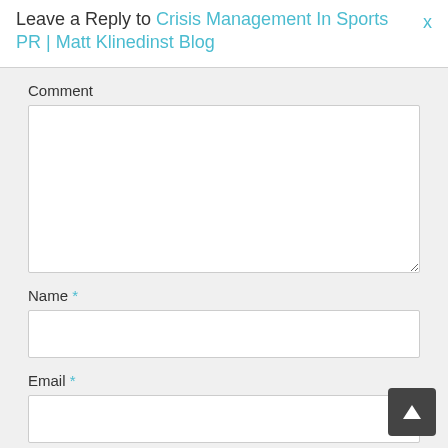Leave a Reply to Crisis Management In Sports PR | Matt Klinedinst Blog
Comment
Name *
Email *
Website